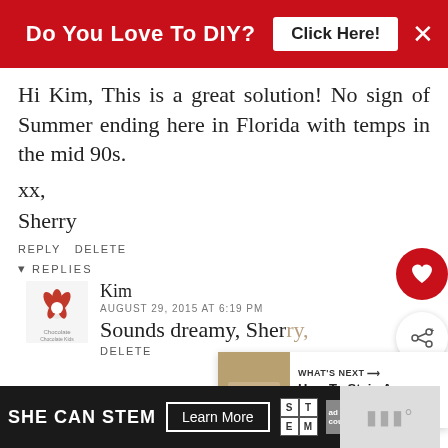[Figure (screenshot): Red advertisement banner at top: 'Do You Love To DIY?' with 'Click Here!' button and X close button]
Hi Kim, This is a great solution! No sign of Summer ending here in Florida with temps in the mid 90s.
xx,
Sherry
REPLY DELETE
▾ REPLIES
Kim
AUGUST 29, 2015 AT 6:19 PM
Sounds dreamy, Sherry,
DELETE
[Figure (infographic): Bottom advertisement: SHE CAN STEM with Learn More button and STEM / Ad Council logos]
[Figure (infographic): What's Next overlay: photo thumbnail and 'How To Stain A Concrete...' text]
[Figure (infographic): Floating heart (favorite) and share action buttons on right side]